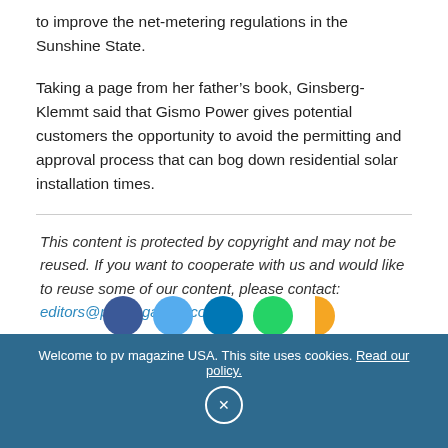to improve the net-metering regulations in the Sunshine State.
Taking a page from her father’s book, Ginsberg-Klemmt said that Gismo Power gives potential customers the opportunity to avoid the permitting and approval process that can bog down residential solar installation times.
This content is protected by copyright and may not be reused. If you want to cooperate with us and would like to reuse some of our content, please contact: editors@pv-magazine.com.
[Figure (other): Row of social media share icon circles (blue, light blue, dark blue, green, orange) partially visible at bottom]
Welcome to pv magazine USA. This site uses cookies. Read our policy.